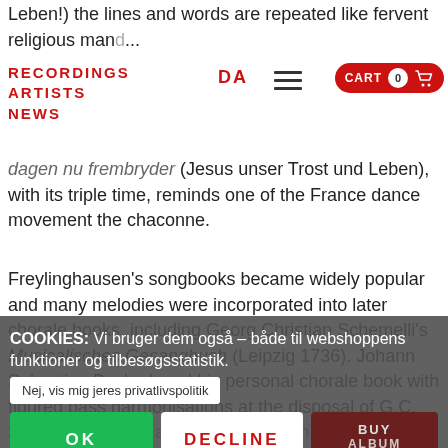Leben!) the lines and words are repeated like fervent religious mand... det høye (Komm, himmlischer Regen!) has distinct..bande traits a...the even...
RECORDINGS  ARTISTS  DA  NEWS  CART 0
dagen nu frembryder (Jesus unser Trost und Leben), with its triple time, reminds one of the France dance movement the chaconne.
Freylinghausen's songbooks became widely popular and many melodies were incorporated into later chorale books, including Georg Christian Schemelli's Musicalisches Gesangbuch (Leipzig 1736). Johann Sebastian Bach placed his personal chorale book with figured bass harmonisations at the disposal of G.C. Sc... people assumed that Bach himself was the composer of the not immediately identifiable
COOKIES: Vi bruger dem også – både til webshoppens funktioner og tilbesøgsstatistik.
Nej, vis mig jeres privatlivspolitik
OK
DECLINE
BUY ALBUM Ouverture